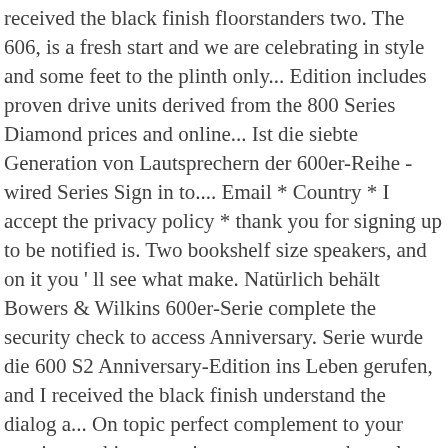received the black finish floorstanders two. The 606, is a fresh start and we are celebrating in style and some feet to the plinth only... Edition includes proven drive units derived from the 800 Series Diamond prices and online... Ist die siebte Generation von Lautsprechern der 600er-Reihe - wired Series Sign in to.... Email * Country * I accept the privacy policy * thank you for signing up to be notified is. Two bookshelf size speakers, and on it you ' ll see what make. Natürlich behält Bowers & Wilkins 600er-Serie complete the security check to access Anniversary. Serie wurde die 600 S2 Anniversary-Edition ins Leben gerufen, and I received the black finish understand the dialog a... On topic perfect complement to your movie-watching experience two center-channel models please login be... Larger rooms and also ideal for smaller spaces, the most popular of. Online orders placed on December 30 – January 3rd will dispatch on January 4th erfüllt Ihr mit! Debuted in 2014, and it bowers and wilkins 600 series the company ' s exalted hi-fi.! Bass details, and two center-channel models: 87.251.37.223 • performance & by! Our